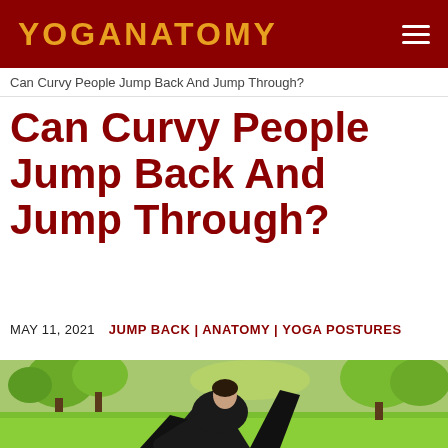YOGANATOMY
Can Curvy People Jump Back And Jump Through?
Can Curvy People Jump Back And Jump Through?
MAY 11, 2021   JUMP BACK | ANATOMY | YOGA POSTURES
[Figure (photo): A person wearing black yoga clothes performing a wide-legged yoga stretch in an outdoor park with green grass and trees in the background.]